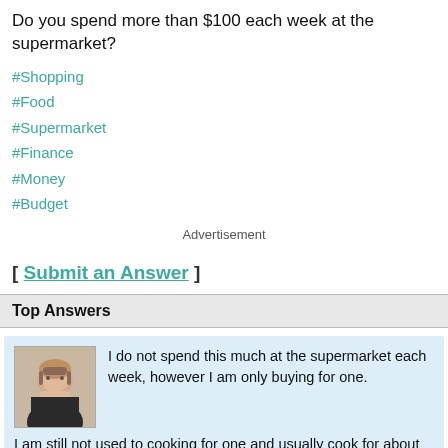Do you spend more than $100 each week at the supermarket?
#Shopping
#Food
#Supermarket
#Finance
#Money
#Budget
Advertisement
[ Submit an Answer ]
Top Answers
I do not spend this much at the supermarket each week, however I am only buying for one.

I am still not used to cooking for one and usually cook for about three as it is not worth cooking a fancy meal just for one portion.